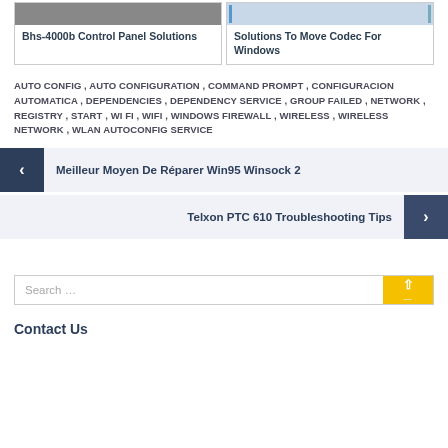[Figure (photo): Two article preview cards side by side: 'Bhs-4000b Control Panel Solutions' and 'Solutions To Move Codec For Windows']
AUTO CONFIG , AUTO CONFIGURATION , COMMAND PROMPT , CONFIGURACION AUTOMATICA , DEPENDENCIES , DEPENDENCY SERVICE , GROUP FAILED , NETWORK , REGISTRY , START , WI FI , WIFI , WINDOWS FIREWALL , WIRELESS , WIRELESS NETWORK , WLAN AUTOCONFIG SERVICE
< Meilleur Moyen De Réparer Win95 Winsock 2
Telxon PTC 610 Troubleshooting Tips >
Search …
Contact Us